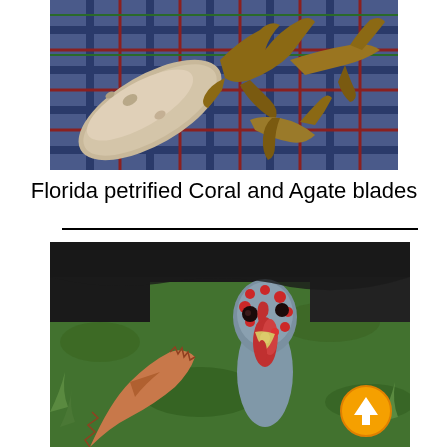[Figure (photo): Photo of Florida petrified coral and agate stone blades with antler handles on a plaid blanket]
Florida petrified Coral and Agate blades
[Figure (photo): Photo of a turkey with a flint arrowhead/blade in the foreground, on green grass, with an orange scroll-up button overlay]